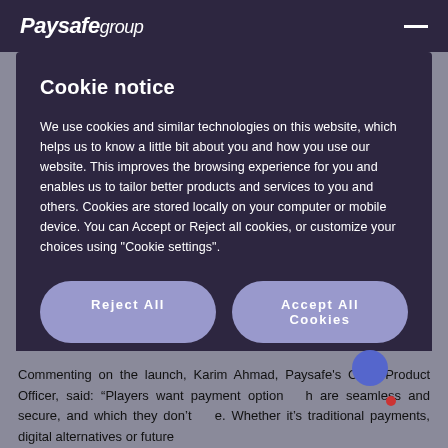Paysafe Group
Cookie notice
We use cookies and similar technologies on this website, which helps us to know a little bit about you and how you use our website. This improves the browsing experience for you and enables us to tailor better products and services to you and others. Cookies are stored locally on your computer or mobile device. You can Accept or Reject all cookies, or customize your choices using "Cookie settings".
Reject All
Accept All Cookies
Cookies Settings
Commenting on the launch, Karim Ahmad, Paysafe's Chief Product Officer, said: “Players want payment option h are seamless and secure, and which they don't e. Whether it's traditional payments, digital alternatives or future